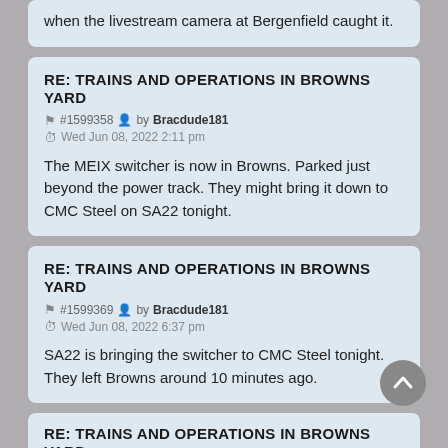when the livestream camera at Bergenfield caught it.
RE: TRAINS AND OPERATIONS IN BROWNS YARD
#1599358 by Bracdude181 Wed Jun 08, 2022 2:11 pm
The MEIX switcher is now in Browns. Parked just beyond the power track. They might bring it down to CMC Steel on SA22 tonight.
RE: TRAINS AND OPERATIONS IN BROWNS YARD
#1599369 by Bracdude181 Wed Jun 08, 2022 6:37 pm
SA22 is bringing the switcher to CMC Steel tonight. They left Browns around 10 minutes ago.
RE: TRAINS AND OPERATIONS IN BROWNS YARD